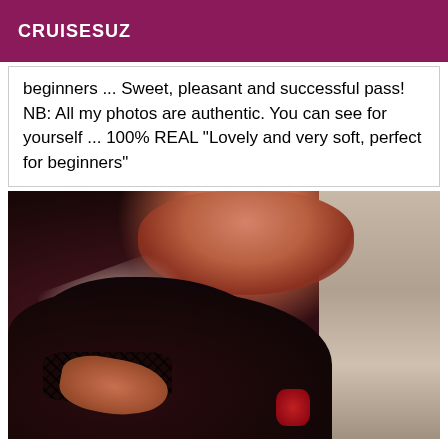CRUISESUZ
beginners ... Sweet, pleasant and successful pass! NB: All my photos are authentic. You can see for yourself ... 100% REAL "Lovely and very soft, perfect for beginners"
[Figure (photo): Close-up selfie photo of a person from behind, showing dark hair, wearing black lace lingerie, with a bright light flare in the upper left area. Room wall visible on the right side.]